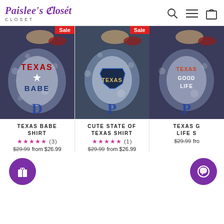Paislee's Closet
[Figure (photo): Product photo of Texas Babe bleached denim shirt with Sale badge]
TEXAS BABE SHIRT
★★★★★ (3)
$29.99  from $26.99
[Figure (photo): Product photo of Cute State of Texas bleached shirt with Sale badge]
CUTE STATE OF TEXAS SHIRT
★★★★★ (1)
$29.99  from $26.99
[Figure (photo): Product photo of Texas Good Life shirt, partially cropped]
TEXAS G... LIFE S...
$29.99  from...